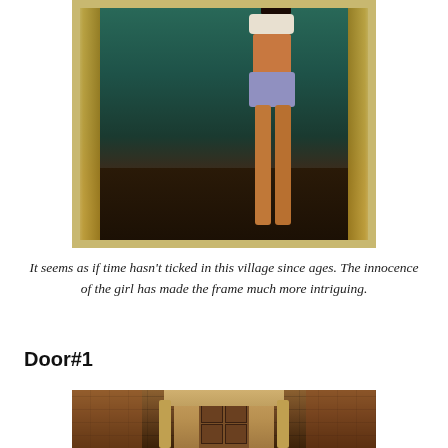[Figure (photo): Photograph of a young girl standing in an ornate doorway with teal/green painted walls. The door frame is decorated with golden/yellow carved border. The girl is wearing a white top and blue shorts.]
It seems as if time hasn't ticked in this village since ages. The innocence of the girl has made the frame much more intriguing.
Door#1
[Figure (photo): Photograph of an ancient stone doorway with ornate carved sandstone arch and frame, set into a rough stone wall. The door appears to be old wooden with decorative metalwork.]